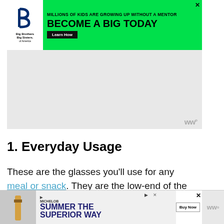[Figure (infographic): Big Brothers Big Sisters advertisement banner: green background, logo on left, text 'MILLIONS OF KIDS ARE GROWING UP WITHOUT A MENTOR' and 'BECOME A BIG TODAY' with 'Learn How' button]
[Figure (infographic): Grey advertisement placeholder area with 'w°' logo watermark in bottom right]
1. Everyday Usage
These are the glasses you'll use for any meal or snack. They are the low-end of the price range simply because of the risk of breaking and cost of replacement. It's not necessarily an indication of how ornate a piece is. Less expensive techniques such as etching can make a cheap one look like something for sp...
[Figure (infographic): Heart/favorite button with count 486 and share button widget on right side]
[Figure (infographic): Bottom advertisement: Michelob Ultra beer ad 'SUMMER THE SUPERIOR WAY' with Buy Now button, close buttons, and w° logo]